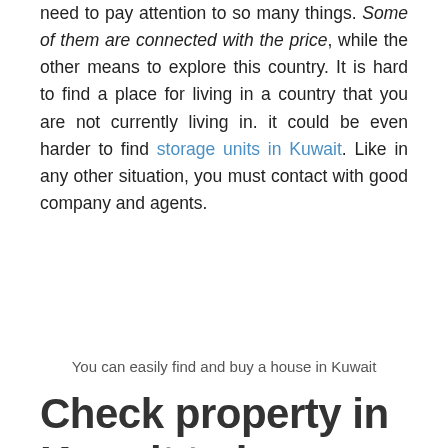need to pay attention to so many things. Some of them are connected with the price, while the other means to explore this country. It is hard to find a place for living in a country that you are not currently living in. it could be even harder to find storage units in Kuwait. Like in any other situation, you must contact with good company and agents.
You can easily find and buy a house in Kuwait
Check property in Kuwait to buy remotely on the